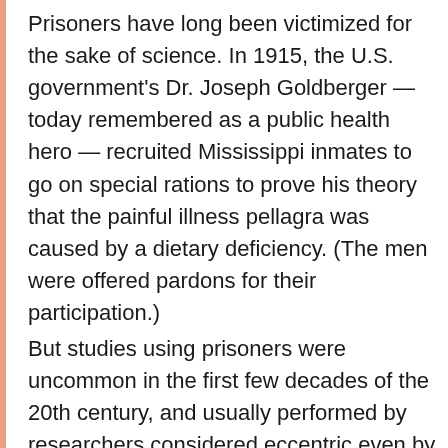Prisoners have long been victimized for the sake of science. In 1915, the U.S. government's Dr. Joseph Goldberger — today remembered as a public health hero — recruited Mississippi inmates to go on special rations to prove his theory that the painful illness pellagra was caused by a dietary deficiency. (The men were offered pardons for their participation.)
But studies using prisoners were uncommon in the first few decades of the 20th century, and usually performed by researchers considered eccentric even by the standards of the day. One was Dr. L.L. Stanley, resident physician at San Quentin prison in California, who around 1920 attempted to treat older, "devitalized men" by implanting in them testicles from livestock and from recently executed convicts.
Newspapers wrote about Stanley's experiments.